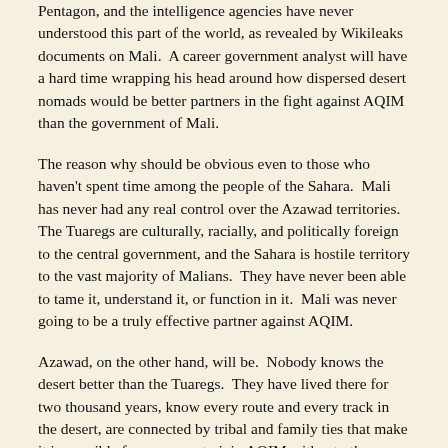Pentagon, and the intelligence agencies have never understood this part of the world, as revealed by Wikileaks documents on Mali. A career government analyst will have a hard time wrapping his head around how dispersed desert nomads would be better partners in the fight against AQIM than the government of Mali.
The reason why should be obvious even to those who haven't spent time among the people of the Sahara. Mali has never had any real control over the Azawad territories. The Tuaregs are culturally, racially, and politically foreign to the central government, and the Sahara is hostile territory to the vast majority of Malians. They have never been able to tame it, understand it, or function in it. Mali was never going to be a truly effective partner against AQIM.
Azawad, on the other hand, will be. Nobody knows the desert better than the Tuaregs. They have lived there for two thousand years, know every route and every track in the desert, are connected by tribal and family ties that make it impossible for someone to join AQIM without others knowing, and most importantly have shown little desire for either radical Islam or terrorism in the past. The MNLA has made it very clear that they intend to create a secular, democratic state. With no history of radical Islamism, the majority of Tuaregs opposed to the imposition of sharia law, and a matrilineal society that respects the rights of women, there is no reason to doubt their intentions.